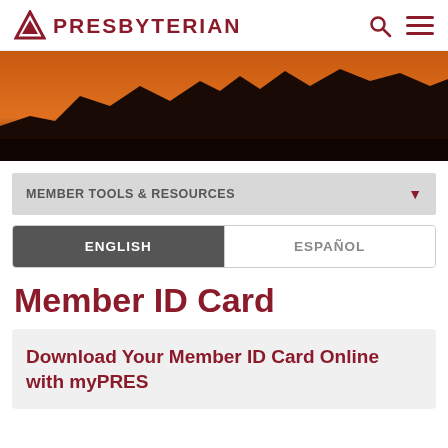PRESBYTERIAN
[Figure (illustration): Hero image showing silhouette of mountainous landscape against an orange and dark sunset sky]
MEMBER TOOLS & RESOURCES
ENGLISH | ESPAÑOL
Member ID Card
Download Your Member ID Card Online with myPRES